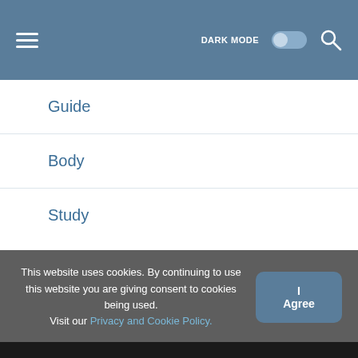DARK MODE [toggle] [search]
Guide
Body
Study
Gambling
Brand
This website uses cookies. By continuing to use this website you are giving consent to cookies being used. Visit our Privacy and Cookie Policy.